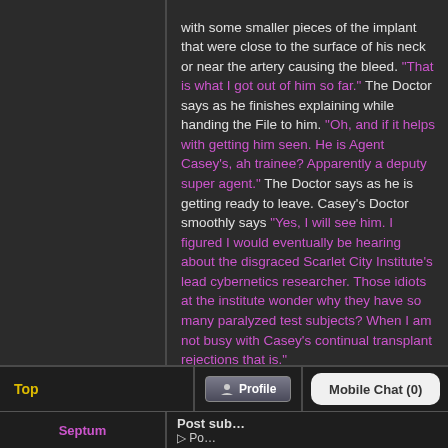with some smaller pieces of the implant that were close to the surface of his neck or near the artery causing the bleed. “That is what I got out of him so far.” The Doctor says as he finishes explaining while handing the File to him. “Oh, and if it helps with getting him seen. He is Agent Casey’s, ah trainee? Apparently a deputy super agent.” The Doctor says as he is getting ready to leave. Casey’s Doctor smoothly says “Yes, I will see him. I figured I would eventually be hearing about the disgraced Scarlet City Institute’s lead cybernetics researcher. Those idiots at the institute wonder why they have so many paralyzed test subjects? When I am not busy with Casey’s continual transplant rejections that is.”
[Figure (screenshot): Social sharing icons: Facebook, Twitter, Reddit, VK, Tumblr, Google+, and another icon]
Top   Profile   Mobile Chat (0)
Septum   Post sub... P...